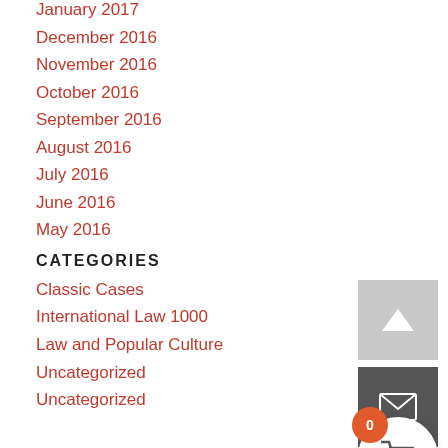January 2017
December 2016
November 2016
October 2016
September 2016
August 2016
July 2016
June 2016
May 2016
CATEGORIES
Classic Cases
International Law 1000
Law and Popular Culture
Uncategorized
Uncategorized